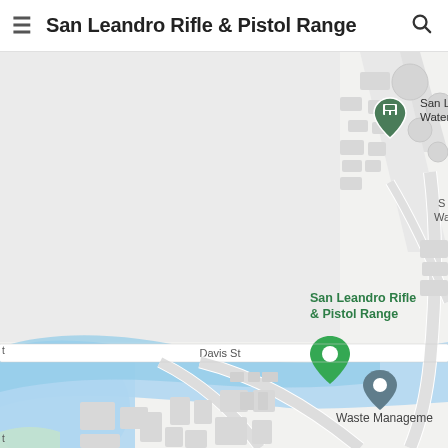San Leandro Rifle & Pistol Range
[Figure (map): Google Maps screenshot showing the location of San Leandro Rifle & Pistol Range on Davis St, with a green location pin. Nearby landmarks include San Leandro Water Treatment (with a building icon pin) and Waste Management (with a grey pin). A blue water body (creek or channel) runs along the left/bottom-left of the map. Roads and grey building footprints are visible throughout.]